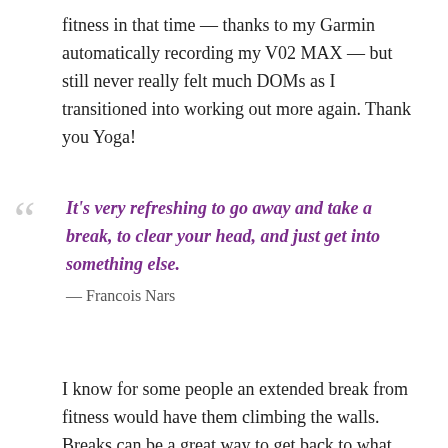fitness in that time — thanks to my Garmin automatically recording my V02 MAX — but still never really felt much DOMs as I transitioned into working out more again. Thank you Yoga!
It's very refreshing to go away and take a break, to clear your head, and just get into something else.
— Francois Nars
I know for some people an extended break from fitness would have them climbing the walls. Breaks can be a great way to get back to what you love. To become really clear on what's important to you. You may realize that yes, you absolutely loved what your were doing and are willing to do whatever it takes to get back to it. You may have a new found appreciation for things that you